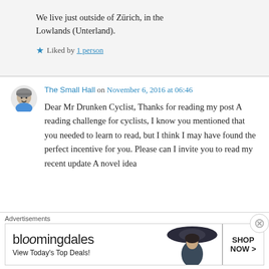We live just outside of Zürich, in the Lowlands (Unterland).
Liked by 1 person
The Small Hall on November 6, 2016 at 06:46
Dear Mr Drunken Cyclist, Thanks for reading my post A reading challenge for cyclists, I know you mentioned that you needed to learn to read, but I think I may have found the perfect incentive for you. Please can I invite you to read my recent update A novel idea
Advertisements
[Figure (screenshot): Bloomingdale's advertisement: 'View Today's Top Deals!' with SHOP NOW > button and woman in wide-brim hat]